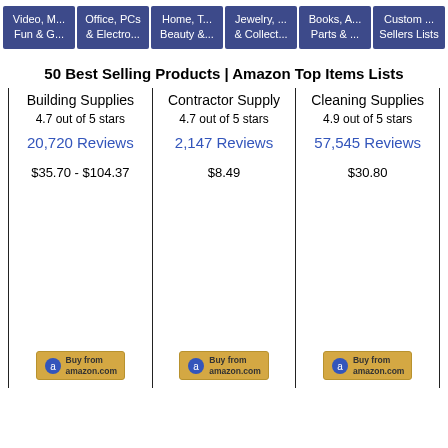Video, M... Fun & G... | Office, PCs & Electro... | Home, T... Beauty &... | Jewelry, ... & Collect... | Books, A... Parts & ... | Custom ... Sellers Lists
50 Best Selling Products | Amazon Top Items Lists
| Building Supplies | Contractor Supply | Cleaning Supplies |
| --- | --- | --- |
| 4.7 out of 5 stars | 4.7 out of 5 stars | 4.9 out of 5 stars |
| 20,720 Reviews | 2,147 Reviews | 57,545 Reviews |
| $35.70 - $104.37 | $8.49 | $30.80 |